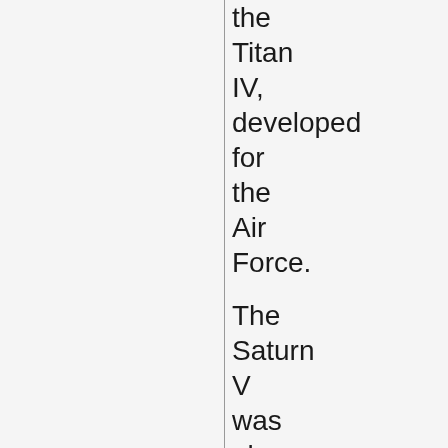the Titan IV, developed for the Air Force. The Saturn V was also used to put